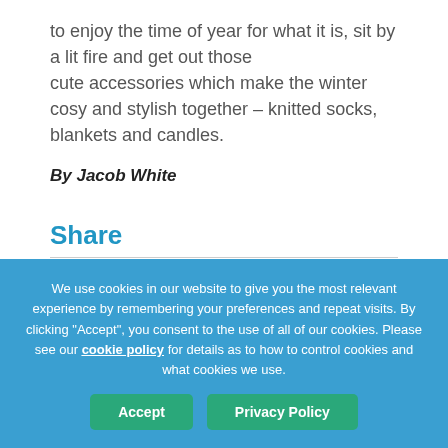to enjoy the time of year for what it is, sit by a lit fire and get out those cute accessories which make the winter cosy and stylish together – knitted socks, blankets and candles.
By Jacob White
Share
Tweet Share Share Email
We use cookies in our website to give you the most relevant experience by remembering your preferences and repeat visits. By clicking "Accept", you consent to the use of all of our cookies. Please see our cookie policy for details as to how to control cookies and what cookies we use.
Accept  Privacy Policy